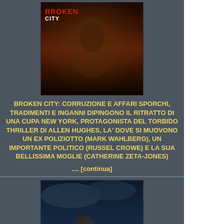[Figure (photo): Movie poster for Broken City showing a person's face with dark moody background, red and white text reading BROKEN CITY]
BROKEN CITY: CORRUZIONE E AFFARI SPORCHI, TRADIMENTI E INGANNI DIPINGONO IL RITRATTO DI UNA CUPA NEW YORK, PROTAGONISTA DEL TORBIDO THRILLER DI ALLEN HUGHES, LA' DOVE SI MUOVONO UN EX POLIZIOTTO (MARK WAHLBERG), UN IMPORTANTE POLITICO (RUSSEL CROWE) E LA SUA BELLISSIMA MOGLIE (CATHERINE ZETA-JONES)
.... [continua]
[Figure (photo): Movie poster for Noah showing a bearded man and other figures against a stormy sky with large waves, text reading NOAH at the bottom]